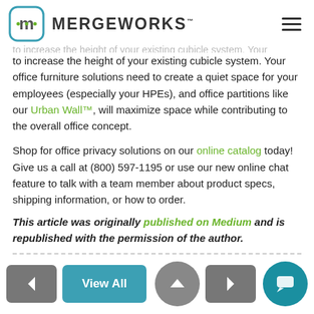[Figure (logo): MergeWorks logo with teal rounded square icon and bold text MERGEWORKS]
to increase the height of your existing cubicle system. Your office furniture solutions need to create a quiet space for your employees (especially your HPEs), and office partitions like our Urban Wall™, will maximize space while contributing to the overall office concept.
Shop for office privacy solutions on our online catalog today! Give us a call at (800) 597-1195 or use our new online chat feature to talk with a team member about product specs, shipping information, or how to order.
This article was originally published on Medium and is republished with the permission of the author.
[Figure (screenshot): Navigation bar with previous arrow button, View All button, next arrow button, scroll-to-top circle button, and chat circle button]